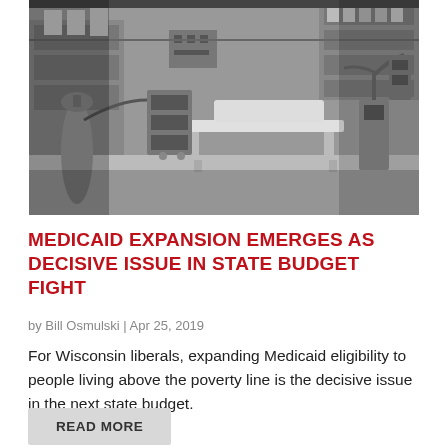[Figure (photo): Black and white photograph of a medical operating room or hospital room interior, showing a gurney/operating table in the center, medical equipment, tanks, shelving with supplies on the walls, and various instruments.]
MEDICAID EXPANSION EMERGES AS DECISIVE ISSUE IN STATE BUDGET FIGHT
by Bill Osmulski | Apr 25, 2019
For Wisconsin liberals, expanding Medicaid eligibility to people living above the poverty line is the decisive issue in the next state budget.
READ MORE